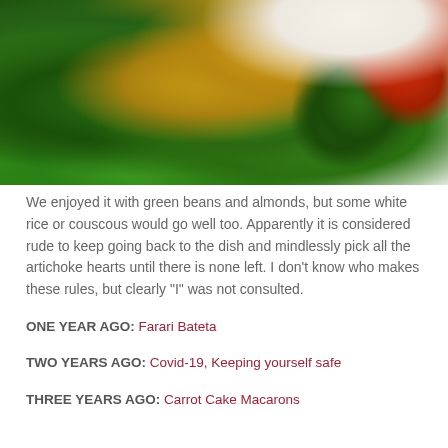[Figure (photo): Close-up photo of a cooked dish on a decorative plate with red tomato/cherry pattern border. The dish includes green beans, artichoke hearts, brussels sprouts or olives, golden-sauteed cauliflower or potatoes, pine nuts, and what appears to be chicken, all glistening with a yellow-golden sauce.]
We enjoyed it with green beans and almonds, but some white rice or couscous would go well too. Apparently it is considered rude to keep going back to the dish and mindlessly pick all the artichoke hearts until there is none left. I don't know who makes these rules, but clearly "I" was not consulted.
ONE YEAR AGO: Farari Bateta
TWO YEARS AGO: Covid-19, Keeping yourself safe
THREE YEARS AGO: Carrot Cake Macarons